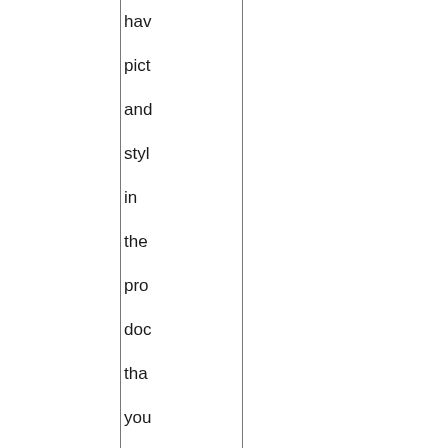hav pict and styl in the pro doc tha you nee the just cop the Pic and Thu dire and the con and